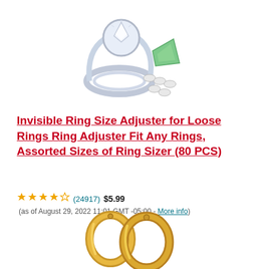[Figure (photo): Product photo of a diamond ring with ring size adjusters (green wedge and small clear silicone adjusters)]
Invisible Ring Size Adjuster for Loose Rings Ring Adjuster Fit Any Rings, Assorted Sizes of Ring Sizer (80 PCS)
★★★★☆ (24917) $5.99 (as of August 29, 2022 11:01 GMT -05:00 - More info)
[Figure (photo): Product photo of gold hoop earrings]